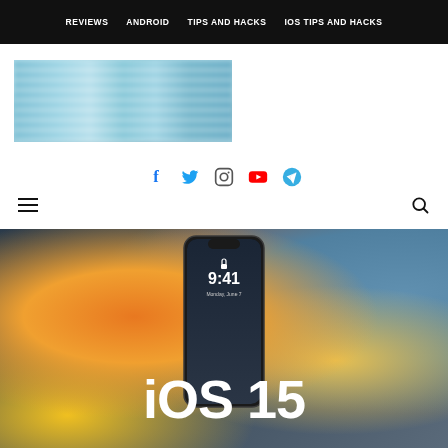REVIEWS | ANDROID | TIPS AND HACKS | IOS TIPS AND HACKS
[Figure (screenshot): Website header with blurred advertisement image, social media icons (Facebook, Twitter, Instagram, YouTube, Telegram), hamburger menu icon, and search icon]
[Figure (photo): iOS 15 hero banner showing an iPhone with lock screen displaying 9:41, Monday June 7, set against colorful abstract background with orange, yellow, dark blue shapes, and large white iOS 15 text overlay]